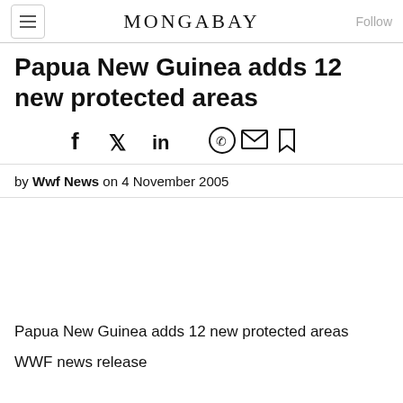MONGABAY
Papua New Guinea adds 12 new protected areas
by Wwf News on 4 November 2005
Papua New Guinea adds 12 new protected areas
WWF news release